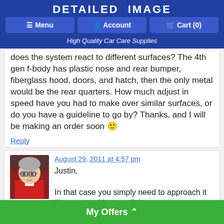DETAILED IMAGE
Menu  Account  Cart (0)
High Quality Car Care Supplies
does the system react to different surfaces? The 4th gen f-body has plastic nose and rear bumper, fiberglass hood, doors, and hatch, then the only metal would be the rear quarters. How much adjust in speed have you had to make over similar surfaces, or do you have a guideline to go by? Thanks, and I will be making an order soon 🙂
Reply
August 29, 2011 at 4:57 pm
[Figure (photo): Profile photo of Todd Cooper — a man with glasses wearing a red shirt]
Todd Cooper says:
Justin,

In that case you simply need to approach it like you would any polish… surfaces